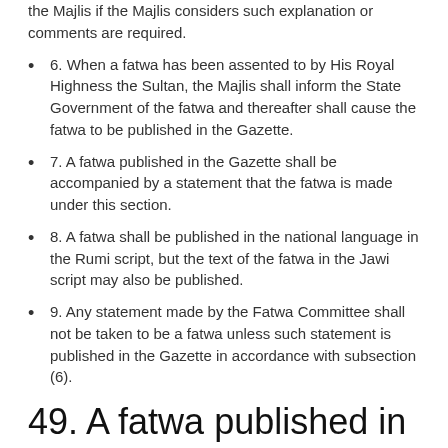the Majlis if the Majlis considers such explanation or comments are required.
6. When a fatwa has been assented to by His Royal Highness the Sultan, the Majlis shall inform the State Government of the fatwa and thereafter shall cause the fatwa to be published in the Gazette.
7. A fatwa published in the Gazette shall be accompanied by a statement that the fatwa is made under this section.
8. A fatwa shall be published in the national language in the Rumi script, but the text of the fatwa in the Jawi script may also be published.
9. Any statement made by the Fatwa Committee shall not be taken to be a fatwa unless such statement is published in the Gazette in accordance with subsection (6).
49. A fatwa published in the Gazette is binding
1. Upon its publication in the Gazette, a fatwa shall be binding on every Muslim in the State of Selangor as a dictate of his religion and it shall be his religious duty to abide by and uphold the fatwa, unless he is permitted by Hukum Syarak to depart from the fatwa in matters of personal observance.